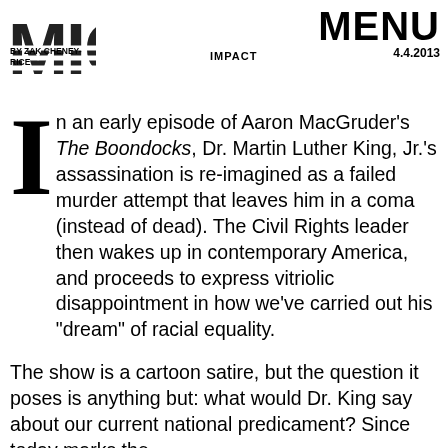MIC | BY ZAK CHENEY-RICE | IMPACT | MENU 4.4.2013
In an early episode of Aaron MacGruder's The Boondocks, Dr. Martin Luther King, Jr.'s assassination is re-imagined as a failed murder attempt that leaves him in a coma (instead of dead). The Civil Rights leader then wakes up in contemporary America, and proceeds to express vitriolic disappointment in how we've carried out his "dream" of racial equality.
The show is a cartoon satire, but the question it poses is anything but: what would Dr. King say about our current national predicament? Since today marks the